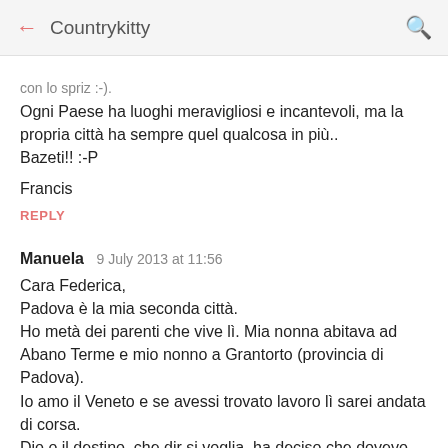← Countrykitty 🔍
con lo spriz :-)
Ogni Paese ha luoghi meravigliosi e incantevoli, ma la propria città ha sempre quel qualcosa in più..
Bazeti!! :-P
Francis
REPLY
Manuela  9 July 2013 at 11:56
Cara Federica,
Padova è la mia seconda città.
Ho metà dei parenti che vive lì. Mia nonna abitava ad Abano Terme e mio nonno a Grantorto (provincia di Padova).
Io amo il Veneto e se avessi trovato lavoro lì sarei andata di corsa.
Dio o il destino, che dir si voglia, ha deciso che dovevo rimanere nella capitale...ma rimango comunque legatissima a quei posti, che visito quando (troppo di rado, lo ammetto)